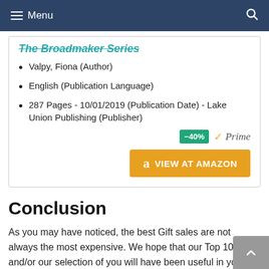Menu
The Broadmaker Series
Valpy, Fiona (Author)
English (Publication Language)
287 Pages - 10/01/2019 (Publication Date) - Lake Union Publishing (Publisher)
[Figure (other): -40% discount badge and Amazon Prime badge]
[Figure (other): VIEW AT AMAZON orange button]
Conclusion
As you may have noticed, the best Gift sales are not always the most expensive. We hope that our Top 10 and/or our selection of you will have been useful in your choice of the ideal gift for